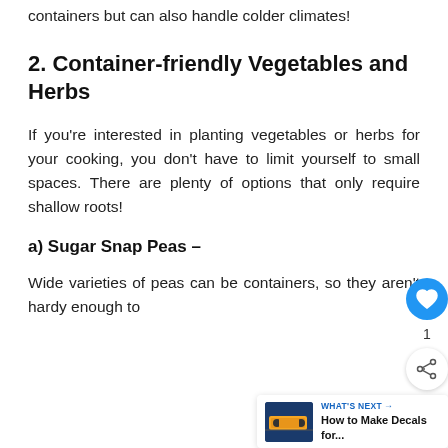containers but can also handle colder climates!
2. Container-friendly Vegetables and Herbs
If you're interested in planting vegetables or herbs for your cooking, you don't have to limit yourself to small spaces. There are plenty of options that only require shallow roots!
a) Sugar Snap Peas –
Wide varieties of peas can be containers, so they aren't hardy enough to